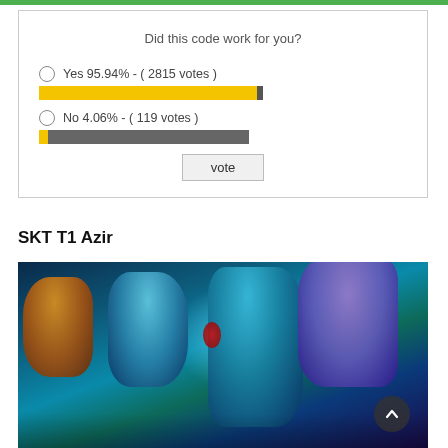[Figure (other): Green progress/header bar at top of page]
Did this code work for you?
Yes 95.94% - ( 2815 votes )
[Figure (bar-chart): Did this code work for you?]
No 4.06% - ( 119 votes )
SKT T1 Azir
[Figure (illustration): SKT T1 themed League of Legends champion skins artwork showing multiple champions in blue/teal color scheme]